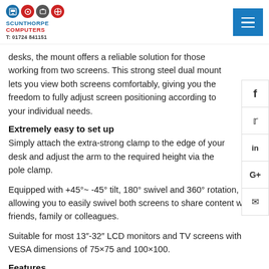Scunthorpe Computers T: 01724 841151
desks, the mount offers a reliable solution for those working from two screens. This strong steel dual mount lets you view both screens comfortably, giving you the freedom to fully adjust screen positioning according to your individual needs.
Extremely easy to set up
Simply attach the extra-strong clamp to the edge of your desk and adjust the arm to the required height via the pole clamp.
Equipped with +45°~ -45° tilt, 180° swivel and 360° rotation, allowing you to easily swivel both screens to share content with friends, family or colleagues.
Suitable for most 13"-32" LCD monitors and TV screens with VESA dimensions of 75×75 and 100×100.
Features